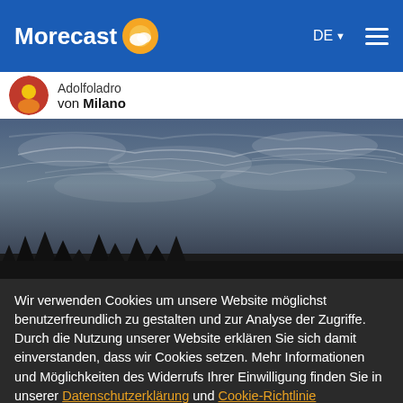Morecast DE ☰
Adolfoladro von Milano
[Figure (photo): Sky photo showing dramatic cloudy sky with dark silhouetted trees at the bottom, wispy cirrus clouds against a blue-grey sky at dusk or dawn]
Wir verwenden Cookies um unsere Website möglichst benutzerfreundlich zu gestalten und zur Analyse der Zugriffe. Durch die Nutzung unserer Website erklären Sie sich damit einverstanden, dass wir Cookies setzen. Mehr Informationen und Möglichkeiten des Widerrufs Ihrer Einwilligung finden Sie in unserer Datenschutzerklärung und Cookie-Richtlinie
OK
Mehr Informationen